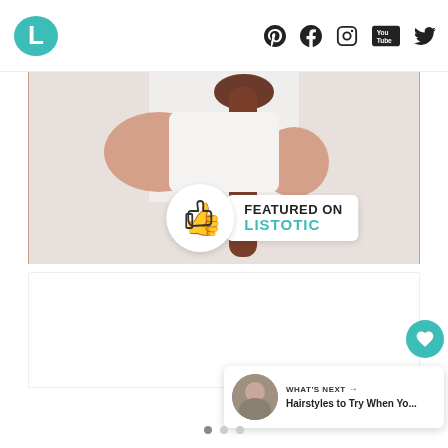Listotic logo with social icons: Pinterest, Facebook, Instagram, YouTube, Twitter
[Figure (photo): Photo of a woman in white shirt with long brown ponytail hair, showing a 'Featured on Listotic' badge overlay with thumbs up icon]
[Figure (screenshot): White content area placeholder below the hero image]
76
WHAT'S NEXT → Hairstyles to Try When Yo...